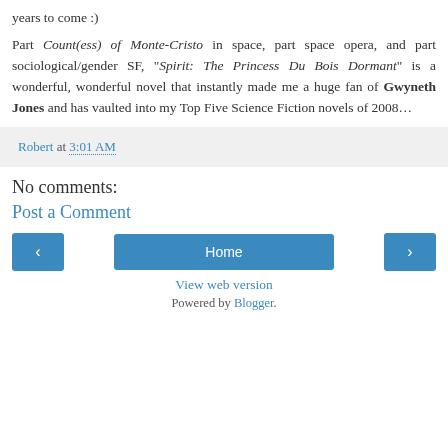years to come :)
Part Count(ess) of Monte-Cristo in space, part space opera, and part sociological/gender SF, “Spirit: The Princess Du Bois Dormant” is a wonderful, wonderful novel that instantly made me a huge fan of Gwyneth Jones and has vaulted into my Top Five Science Fiction novels of 2008…
Robert at 3:01 AM
No comments:
Post a Comment
‹  Home  ›
View web version
Powered by Blogger.